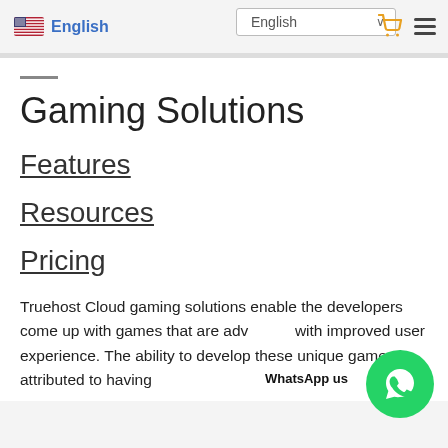English | English | Cart | Menu
Gaming Solutions
Features
Resources
Pricing
Truehost Cloud gaming solutions enable the developers come up with games that are advanced with improved user experience. The ability to develop these unique games is attributed to having large environment facilitating a gaming...
WhatsApp us